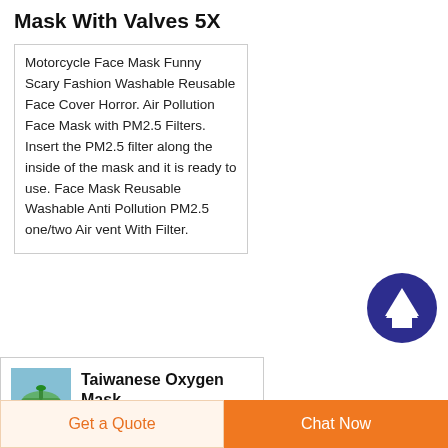Mask With Valves 5X
Motorcycle Face Mask Funny Scary Fashion Washable Reusable Face Cover Horror. Air Pollution Face Mask with PM2.5 Filters. Insert the PM2.5 filter along the inside of the mask and it is ready to use. Face Mask Reusable Washable Anti Pollution PM2.5 one/two Air vent With Filter.
[Figure (illustration): Dark blue circle button with white upward arrow, scroll-to-top button]
[Figure (photo): Small product thumbnail showing a green medical/oxygen mask component on blue background]
Taiwanese Oxygen Mask Manufacturers
Get a Quote
Chat Now